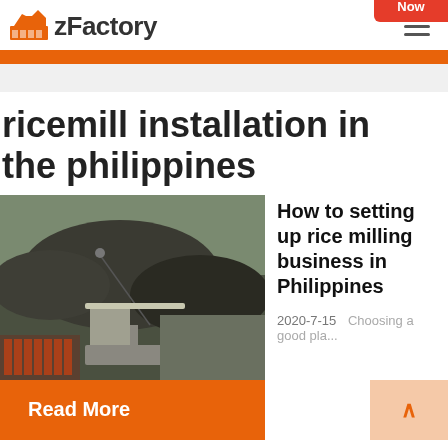zFactory
ricemill installation in the philippines
[Figure (photo): Aerial or elevated view of a large industrial facility with mounds of dark material and conveyor structures]
How to setting up rice milling business in Philippines
2020-7-15   Choosing a good pla...
Read More